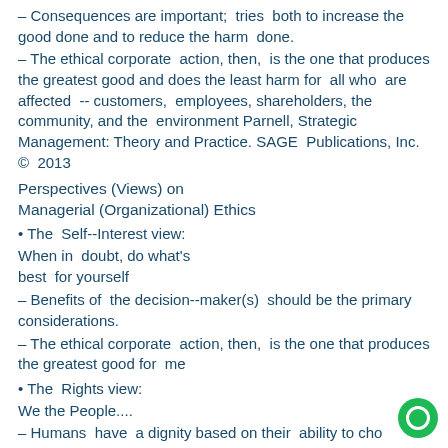– Consequences are important; tries both to increase the good done and to reduce the harm done.
– The ethical corporate action, then, is the one that produces the greatest good and does the least harm for all who are affected -- customers, employees, shareholders, the community, and the environment Parnell, Strategic Management: Theory and Practice. SAGE Publications, Inc. © 2013
Perspectives (Views) on Managerial (Organizational) Ethics
• The Self--Interest view:
When in doubt, do what's best for yourself
– Benefits of the decision--maker(s) should be the primary considerations.
– The ethical corporate action, then, is the one that produces the greatest good for me
• The Rights view:
We the People....
– Humans have a dignity based on their ability to cho...